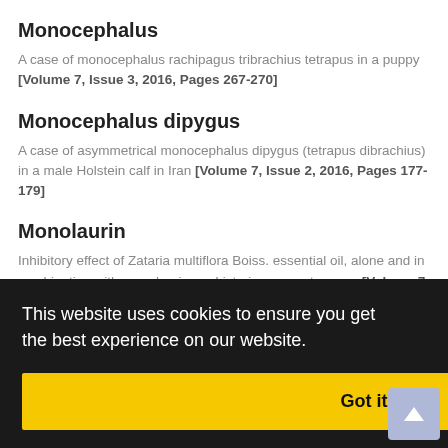Monocephalus
A case of monocephalus rachipagus tribrachius tetrapus in a puppy [Volume 7, Issue 3, 2016, Pages 267-270]
Monocephalus dipygus
A case of asymmetrical monocephalus dipygus (tetrapus dibrachius) in a male Holstein calf in Iran [Volume 7, Issue 2, 2016, Pages 177-179]
Monolaurin
Inhibitory effect of Zataria multiflora Boiss. essential oil, alone and in combination with monolaurin, on Listeria monocytogenes [Volume 7, Issue 1, 2016, Pages 7-11]
Morphine-like substance
Evidence of morphine like substance and μ-opioid receptor [Volume 7,
stereological and ages 41-45]
Protective effect of ethyl pyruvate on mice sperm parameters in
This website uses cookies to ensure you get the best experience on our website.
Got it!